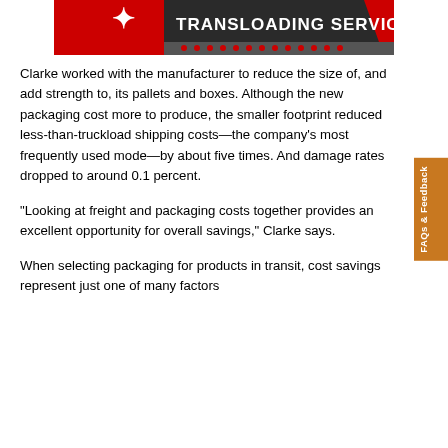[Figure (logo): Transloading Services banner with red and gray diagonal design elements and text 'TRANSLOADING SERVICES' in white on dark background with red dots row]
Clarke worked with the manufacturer to reduce the size of, and add strength to, its pallets and boxes. Although the new packaging cost more to produce, the smaller footprint reduced less-than-truckload shipping costs—the company's most frequently used mode—by about five times. And damage rates dropped to around 0.1 percent.
“Looking at freight and packaging costs together provides an excellent opportunity for overall savings,” Clarke says.
When selecting packaging for products in transit, cost savings represent just one of many factors